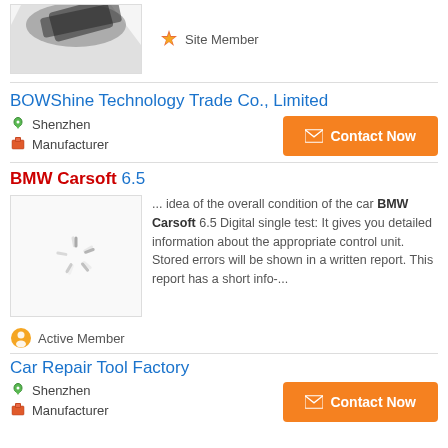[Figure (photo): Product image placeholder (top, partially cut off) with loading spinner graphic]
Site Member
BOWShine Technology Trade Co., Limited
Shenzhen
Manufacturer
Contact Now
BMW Carsoft 6.5
[Figure (photo): Product image with loading spinner]
... idea of the overall condition of the car BMW Carsoft 6.5 Digital single test: It gives you detailed information about the appropriate control unit. Stored errors will be shown in a written report. This report has a short info-...
Active Member
Car Repair Tool Factory
Shenzhen
Manufacturer
Contact Now